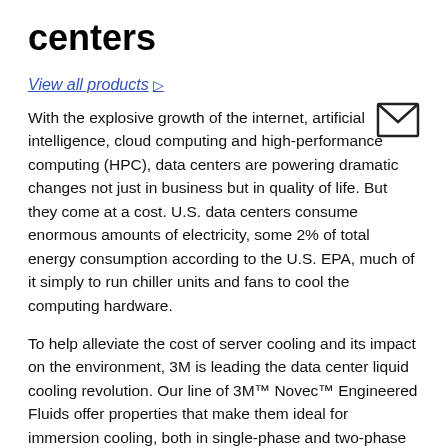centers
View all products ▷
[Figure (illustration): Email envelope icon]
With the explosive growth of the internet, artificial intelligence, cloud computing and high-performance computing (HPC), data centers are powering dramatic changes not just in business but in quality of life. But they come at a cost. U.S. data centers consume enormous amounts of electricity, some 2% of total energy consumption according to the U.S. EPA, much of it simply to run chiller units and fans to cool the computing hardware.
To help alleviate the cost of server cooling and its impact on the environment, 3M is leading the data center liquid cooling revolution. Our line of 3M™ Novec™ Engineered Fluids offer properties that make them ideal for immersion cooling, both in single-phase and two-phase operation. The result? Energy use (and costs) can be